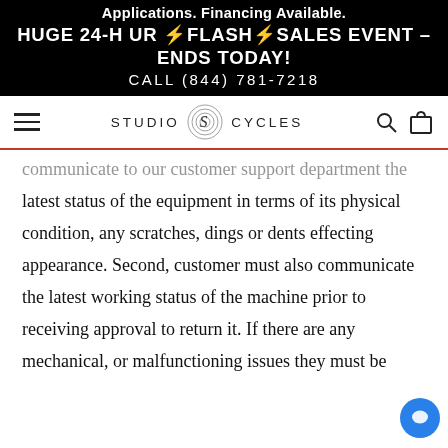Applications. Financing Available.
HUGE 24-HOUR ⚡FLASH⚡SALES EVENT – ENDS TODAY!
CALL (844) 781-7218
[Figure (logo): Studio Cycles logo with hamburger menu, search icon, and bag icon in navigation bar]
communicate to our customer support department the latest status of the equipment in terms of its physical condition, any scratches, dings or dents effecting appearance. Second, customer must also communicate the latest working status of the machine prior to receiving approval to return it. If there are any mechanical, or malfunctioning issues they must be reported and repaired prior to receiving approval for machines return. Third, customer must then have the product repackaged properly and securely for travel back to the company, which